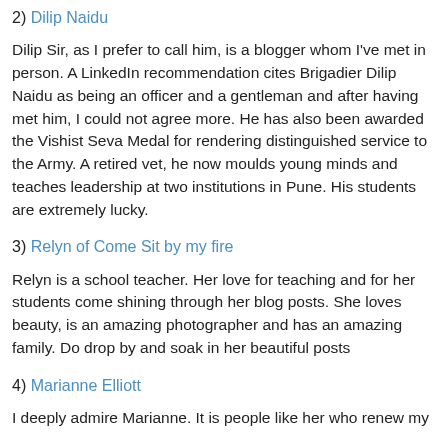2) Dilip Naidu
Dilip Sir, as I prefer to call him, is a blogger whom I've met in person. A LinkedIn recommendation cites Brigadier Dilip Naidu as being an officer and a gentleman and after having met him, I could not agree more. He has also been awarded the Vishist Seva Medal for rendering distinguished service to the Army. A retired vet, he now moulds young minds and teaches leadership at two institutions in Pune. His students are extremely lucky.
3) Relyn of Come Sit by my fire
Relyn is a school teacher. Her love for teaching and for her students come shining through her blog posts. She loves beauty, is an amazing photographer and has an amazing family. Do drop by and soak in her beautiful posts
4) Marianne Elliott
I deeply admire Marianne. It is people like her who renew my